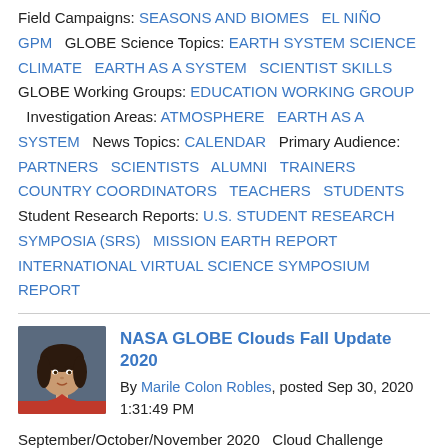Field Campaigns: SEASONS AND BIOMES   EL NIÑO   GPM   GLOBE Science Topics: EARTH SYSTEM SCIENCE   CLIMATE   EARTH AS A SYSTEM   SCIENTIST SKILLS   GLOBE Working Groups: EDUCATION WORKING GROUP   Investigation Areas: ATMOSPHERE   EARTH AS A SYSTEM   News Topics: CALENDAR   Primary Audience: PARTNERS   SCIENTISTS   ALUMNI   TRAINERS   COUNTRY COORDINATORS   TEACHERS   STUDENTS   Student Research Reports: U.S. STUDENT RESEARCH SYMPOSIA (SRS)   MISSION EARTH REPORT   INTERNATIONAL VIRTUAL SCIENCE SYMPOSIUM REPORT
[Figure (photo): Headshot photo of Marile Colon Robles, a woman with dark hair wearing a red jacket, against a dark/blue background.]
NASA GLOBE Clouds Fall Update 2020
By Marile Colon Robles, posted Sep 30, 2020 1:31:49 PM
September/October/November 2020   Cloud Challenge